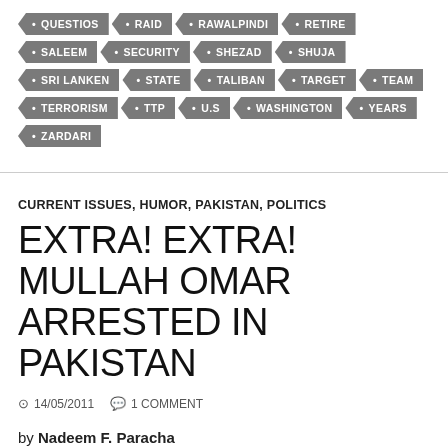QUESTIOS • RAID • RAWALPINDI • RETIRE • SALEEM • SECURITY • SHEZAD • SHUJA • SRI LANKEN • STATE • TALIBAN • TARGET • TEAM • TERRORISM • TTP • U.S • WASHINGTON • YEARS • ZARDARI
CURRENT ISSUES, HUMOR, PAKISTAN, POLITICS
EXTRA! EXTRA! MULLAH OMAR ARRESTED IN PAKISTAN
14/05/2011   1 COMMENT
by Nadeem F. Paracha
ISLAMABAD: In a daring raid, Saudi Special Forces arrested